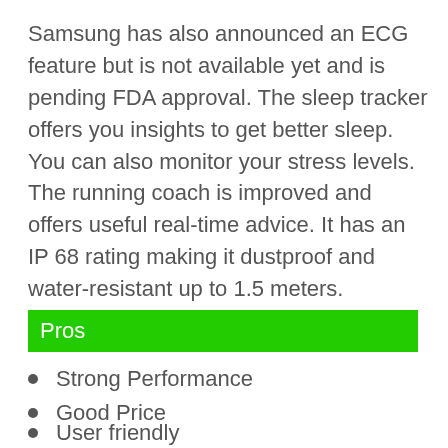Samsung has also announced an ECG feature but is not available yet and is pending FDA approval. The sleep tracker offers you insights to get better sleep. You can also monitor your stress levels. The running coach is improved and offers useful real-time advice. It has an IP 68 rating making it dustproof and water-resistant up to 1.5 meters.
Pros
Strong Performance
Good Price
User friendly